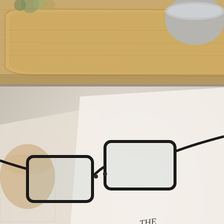[Figure (photo): Top portion: wooden tray or cutting board on a light wooden table surface, with a small grey bowl in the upper right corner and some greenery/dried flowers visible at top.]
[Figure (photo): Middle portion: black-framed reading glasses resting on an open magazine page. The magazine shows partial large serif text reading 'THE SLOW GURU' with columns of text and author byline 'Jan Clarke' visible beneath.]
[Figure (photo): Bottom portion: a small white pot containing a succulent/echeveria plant on a warm wooden table surface.]